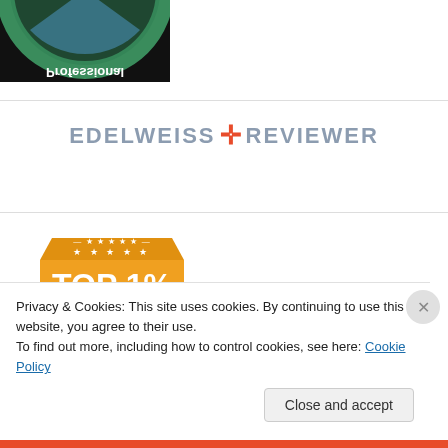[Figure (logo): Partial circular badge/logo on black background, showing 'Professional' text, top portion cut off]
[Figure (logo): Edelweiss+ Reviewer logo: text 'EDELWEISS' in gray, orange-red plus sign, 'REVIEWER' in gray]
[Figure (infographic): Orange TOP 1% badge/ribbon graphic with stars]
Privacy & Cookies: This site uses cookies. By continuing to use this website, you agree to their use.
To find out more, including how to control cookies, see here: Cookie Policy
Close and accept